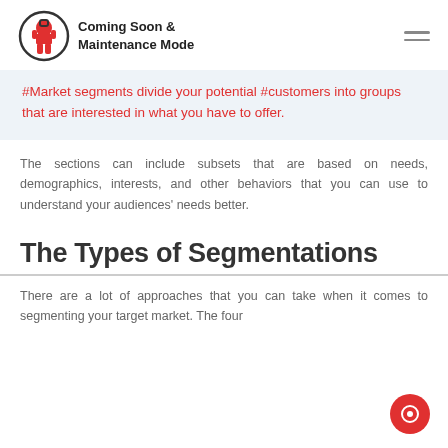Coming Soon & Maintenance Mode
#Market segments divide your potential #customers into groups that are interested in what you have to offer.
The sections can include subsets that are based on needs, demographics, interests, and other behaviors that you can use to understand your audiences' needs better.
The Types of Segmentations
There are a lot of approaches that you can take when it comes to segmenting your target market. The four